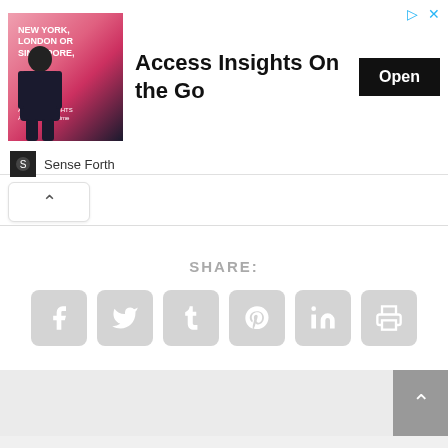[Figure (screenshot): Advertisement banner: image of a man in a suit next to pink background with text NEW YORK, LONDON OR SINGAPORE. Center text: Access Insights On the Go. Black Open button on right. Top-right has play and close icons. Below: Sense Forth brand logo.]
[Figure (screenshot): Collapse/hide bar with an up-chevron button on the left side.]
SHARE:
[Figure (infographic): Row of 6 social share icon buttons: Facebook, Twitter, Tumblr, Pinterest, LinkedIn, Print — all in gray rounded-square style.]
[Figure (screenshot): Gray footer area with a dark gray back-to-top button (up chevron) on the bottom right.]